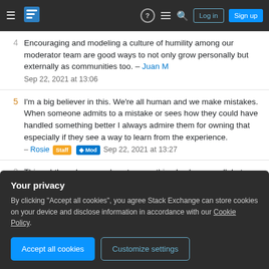Stack Exchange navigation header with Log in and Sign up buttons
4  Encouraging and modeling a culture of humility among our moderator team are good ways to not only grow personally but externally as communities too. – Juan M  Sep 22, 2021 at 13:06
5  I'm a big believer in this. We're all human and we make mistakes. When someone admits to a mistake or sees how they could have handled something better I always admire them for owning that especially if they see a way to learn from the experience. – Rosie Staff Mod  Sep 22, 2021 at 13:27
3  This subthread comes close to something I value as well, but misses the mark by a hair by talking about it in …review not just of your decisions but of the approach
Your privacy

By clicking "Accept all cookies", you agree Stack Exchange can store cookies on your device and disclose information in accordance with our Cookie Policy.

Accept all cookies    Customize settings